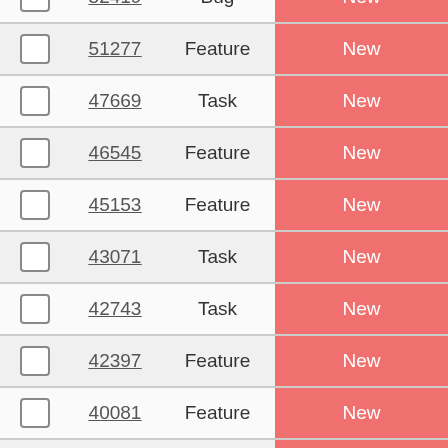|  | ID | Type | Status |
| --- | --- | --- | --- |
| ☐ | 52419 | Bug | New |
| ☐ | 51277 | Feature | New |
| ☐ | 47669 | Task | New |
| ☐ | 46545 | Feature | New |
| ☐ | 45153 | Feature | New |
| ☐ | 43071 | Task | New |
| ☐ | 42743 | Task | New |
| ☐ | 42397 | Feature | New |
| ☐ | 40081 | Feature | New |
| ☐ | 38130 | Feature | New |
| ☐ | 37095 | Feature | New |